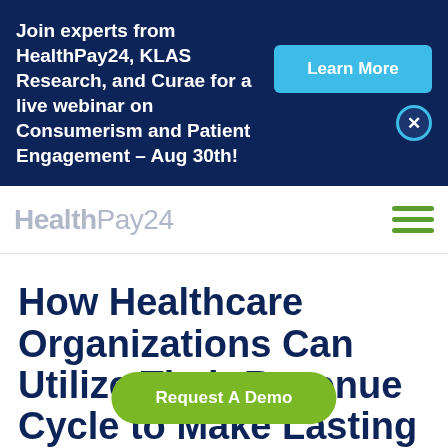Join experts from HealthPay24, KLAS Research, and Curae for a live webinar on Consumerism and Patient Engagement – Aug 30th!
Learn More
HealthPay24
How Healthcare Organizations Can Utilize Their Revenue Cycle to Make Lasting Impacts on
Request A Demo